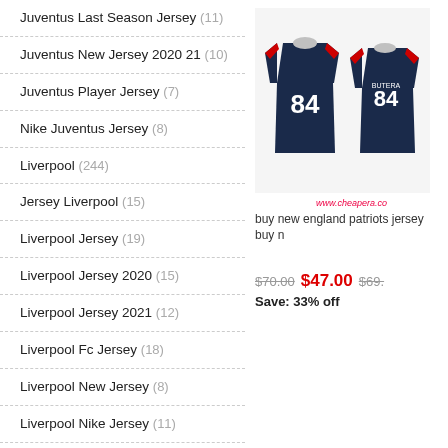Juventus Last Season Jersey (11)
Juventus New Jersey 2020 21 (10)
Juventus Player Jersey (7)
Nike Juventus Jersey (8)
Liverpool (244)
Jersey Liverpool (15)
Liverpool Jersey (19)
Liverpool Jersey 2020 (15)
Liverpool Jersey 2021 (12)
Liverpool Fc Jersey (18)
Liverpool New Jersey (8)
Liverpool Nike Jersey (11)
Liverpool Away Jersey (12)
Liverpool Black Jersey (14)
Liverpool Jersey Kids (23)
Liverpool Jersey Australia (16)
[Figure (photo): Two navy blue #84 New England Patriots jerseys shown front and back]
buy new england patriots jersey   buy n
$70.00  $47.00  $69.  Save: 33% off